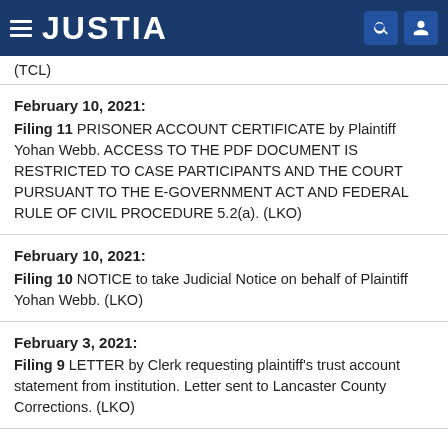JUSTIA
(TCL)
February 10, 2021: Filing 11 PRISONER ACCOUNT CERTIFICATE by Plaintiff Yohan Webb. ACCESS TO THE PDF DOCUMENT IS RESTRICTED TO CASE PARTICIPANTS AND THE COURT PURSUANT TO THE E-GOVERNMENT ACT AND FEDERAL RULE OF CIVIL PROCEDURE 5.2(a). (LKO)
February 10, 2021: Filing 10 NOTICE to take Judicial Notice on behalf of Plaintiff Yohan Webb. (LKO)
February 3, 2021: Filing 9 LETTER by Clerk requesting plaintiff's trust account statement from institution. Letter sent to Lancaster County Corrections. (LKO)